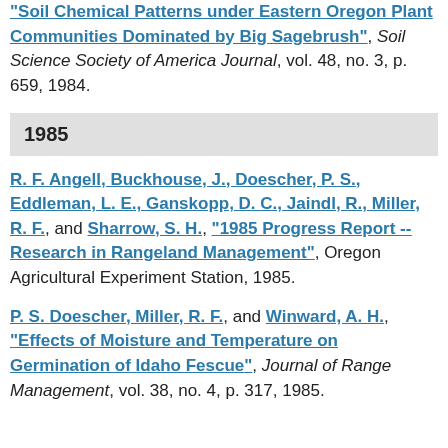"Soil Chemical Patterns under Eastern Oregon Plant Communities Dominated by Big Sagebrush", Soil Science Society of America Journal, vol. 48, no. 3, p. 659, 1984.
1985
R. F. Angell, Buckhouse, J., Doescher, P. S., Eddleman, L. E., Ganskopp, D. C., Jaindl, R., Miller, R. F., and Sharrow, S. H., "1985 Progress Report -- Research in Rangeland Management", Oregon Agricultural Experiment Station, 1985.
P. S. Doescher, Miller, R. F., and Winward, A. H., "Effects of Moisture and Temperature on Germination of Idaho Fescue", Journal of Range Management, vol. 38, no. 4, p. 317, 1985.